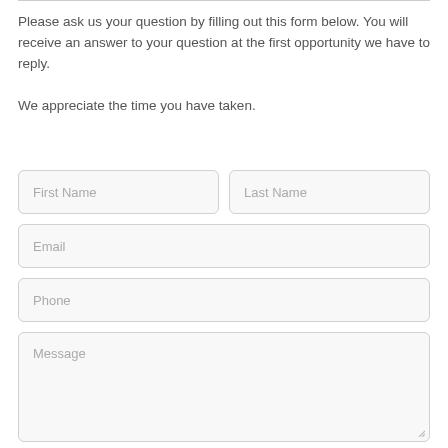Please ask us your question by filling out this form below. You will receive an answer to your question at the first opportunity we have to reply.

We appreciate the time you have taken.
[Figure (screenshot): A contact form with fields for First Name, Last Name, Email, Phone, Message (textarea), and a reCAPTCHA widget at the bottom.]